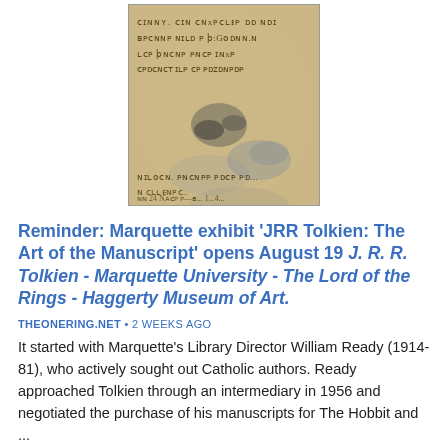[Figure (photo): A scanned manuscript page with medieval handwriting in brown ink on aged parchment, with some blue coloring visible.]
Reminder: Marquette exhibit 'JRR Tolkien: The Art of the Manuscript' opens August 19 J. R. R. Tolkien - Marquette University - The Lord of the Rings - Haggerty Museum of Art.
THEONERING.NET • 2 WEEKS AGO
It started with Marquette's Library Director William Ready (1914-81), who actively sought out Catholic authors. Ready approached Tolkien through an intermediary in 1956 and negotiated the purchase of his manuscripts for The Hobbit and ...
Read more at TheOneRing.net